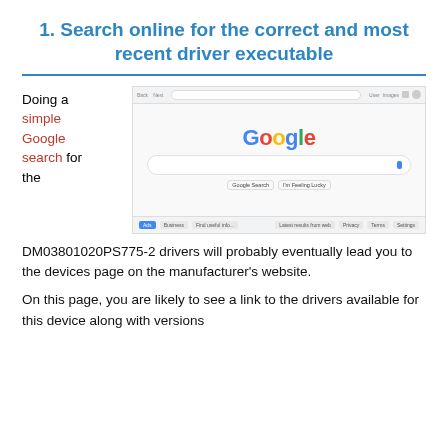1. Search online for the correct and most recent driver executable
[Figure (screenshot): Screenshot of the Google homepage in a web browser, showing the Google logo, search bar, and Google Search / I'm Feeling Lucky buttons.]
Doing a simple Google search for the DM03801020PS775-2 drivers will probably eventually lead you to the devices page on the manufacturer's website.
On this page, you are likely to see a link to the drivers available for this device along with versions